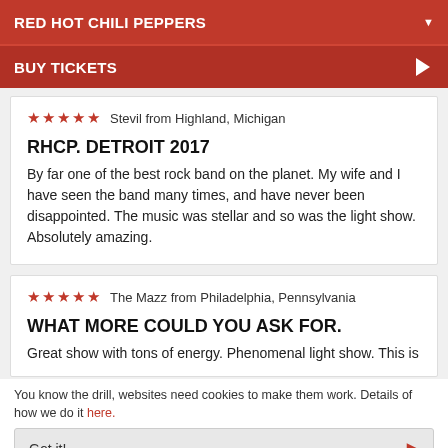RED HOT CHILI PEPPERS
BUY TICKETS
★★★★★  Stevil from Highland, Michigan
RHCP. DETROIT 2017
By far one of the best rock band on the planet. My wife and I have seen the band many times, and have never been disappointed. The music was stellar and so was the light show. Absolutely amazing.
★★★★★  The Mazz from Philadelphia, Pennsylvania
WHAT MORE COULD YOU ASK FOR.
Great show with tons of energy. Phenomenal light show. This is
You know the drill, websites need cookies to make them work. Details of how we do it here.
Got it!